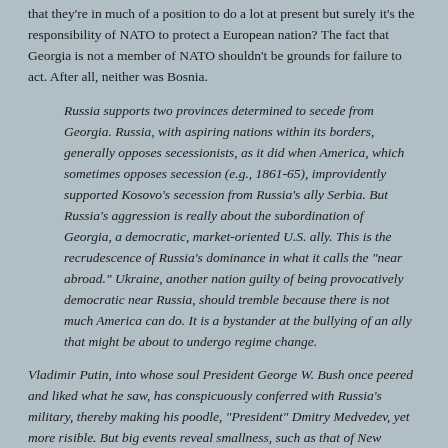that they're in much of a position to do a lot at present but surely it's the responsibility of NATO to protect a European nation? The fact that Georgia is not a member of NATO shouldn't be grounds for failure to act. After all, neither was Bosnia.
Russia supports two provinces determined to secede from Georgia. Russia, with aspiring nations within its borders, generally opposes secessionists, as it did when America, which sometimes opposes secession (e.g., 1861-65), improvidently supported Kosovo's secession from Russia's ally Serbia. But Russia's aggression is really about the subordination of Georgia, a democratic, market-oriented U.S. ally. This is the recrudescence of Russia's dominance in what it calls the "near abroad." Ukraine, another nation guilty of being provocatively democratic near Russia, should tremble because there is not much America can do. It is a bystander at the bullying of an ally that might be about to undergo regime change.
Vladimir Putin, into whose soul President George W. Bush once peered and liked what he saw, has conspicuously conferred with Russia's military, thereby making his poodle, "President" Dmitry Medvedev, yet more risible. But big events reveal smallness, such as that of New Mexico Gov. Bill Richardson.
On ABC's "This Week," Richardson, auditioning to be Barack Obama's running mate, disqualified himself. Clinging to the